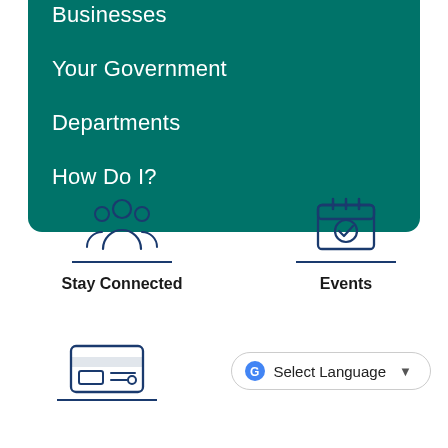Businesses
Your Government
Departments
How Do I?
[Figure (illustration): Icon of three people (community/group) above a teal horizontal rule, labeled Stay Connected]
Stay Connected
[Figure (illustration): Icon of a calendar with a checkmark above a teal horizontal rule, labeled Events]
Events
[Figure (illustration): Icon of a credit card above a teal horizontal rule]
Select Language